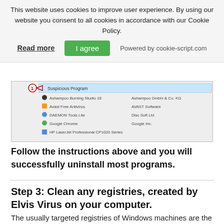This website uses cookies to improve user experience. By using our website you consent to all cookies in accordance with our Cookie Policy.
Read more   I agree   Powered by cookie-script.com
[Figure (screenshot): Screenshot of a Windows program list showing items like Ashampoo Burning Studio 18, Avast Free Antivirus, DAEMON Tools Lite, Google Chrome, HP LaserJet Professional CP1020 Series, with a callout arrow pointing to a 'Suspicious Program' entry highlighted in blue.]
Follow the instructions above and you will successfully uninstall most programs.
Step 3: Clean any registries, created by Elvis Virus on your computer.
The usually targeted registries of Windows machines are the following:
HKEY_LOCAL_MACHINE\Software\Microsoft\Windows\CurrentVersion\Run
HKEY_CURRENT_USER\Software\Microsoft\Win